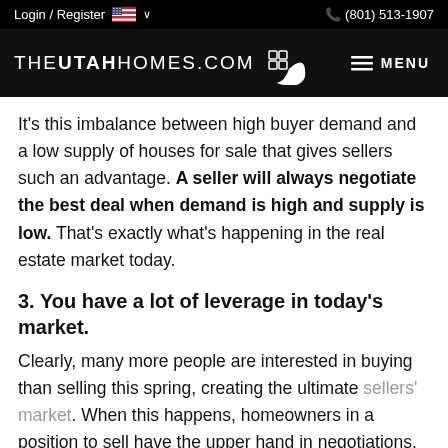Login / Register  🇺🇸 ∨   (801) 513-1907
[Figure (logo): THEUTAHHOMES.COM logo with house icon and swoosh, plus MENU button on dark background]
It's this imbalance between high buyer demand and a low supply of houses for sale that gives sellers such an advantage. A seller will always negotiate the best deal when demand is high and supply is low. That's exactly what's happening in the real estate market today.
3. You have a lot of leverage in today's market.
Clearly, many more people are interested in buying than selling this spring, creating the ultimate sellers' market. When this happens, homeowners in a position to sell have the upper hand in negotiations.